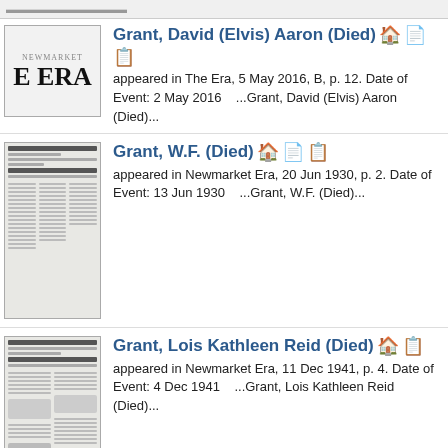Grant, David (Elvis) Aaron (Died) appeared in The Era, 5 May 2016, B, p. 12. Date of Event: 2 May 2016 ...Grant, David (Elvis) Aaron (Died)...
Grant, W.F. (Died) appeared in Newmarket Era, 20 Jun 1930, p. 2. Date of Event: 13 Jun 1930 ...Grant, W.F. (Died)...
Grant, Lois Kathleen Reid (Died) appeared in Newmarket Era, 11 Dec 1941, p. 4. Date of Event: 4 Dec 1941 ...Grant, Lois Kathleen Reid (Died)...